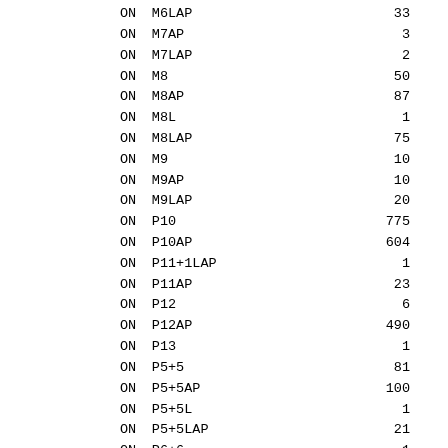| Pr | Service Plan | Count |
| --- | --- | --- |
| ON | M6LAP | 33 |
| ON | M7AP | 3 |
| ON | M7LAP | 2 |
| ON | M8 | 50 |
| ON | M8AP | 87 |
| ON | M8L | 1 |
| ON | M8LAP | 75 |
| ON | M9 | 10 |
| ON | M9AP | 10 |
| ON | M9LAP | 20 |
| ON | P10 | 775 |
| ON | P10AP | 604 |
| ON | P11+1LAP | 1 |
| ON | P11AP | 23 |
| ON | P12 | 6 |
| ON | P12AP | 490 |
| ON | P13 | 1 |
| ON | P5+5 | 81 |
| ON | P5+5AP | 100 |
| ON | P5+5L | 1 |
| ON | P5+5LAP | 21 |
| ON | P6+6 | 1 |
| ON | P6+6AP | 20 |
| ON | P8 | 112 |
| ON | P9 | 9 |
| ON | P9+1AP | 1 |
| ON | P9+1LAP | 1 |
| ON | TOTAL | 3653 |
| Pr | Service Plan | Count |